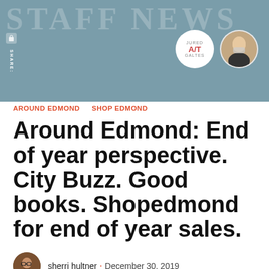[Figure (screenshot): Website header banner with teal/steel blue background, ghost text reading STAFF NEWS, share icons on left, two circular avatars on right (Jured Art logo and a woman's photo)]
AROUND EDMOND   SHOP EDMOND
Around Edmond: End of year perspective. City Buzz. Good books. Shopedmond for end of year sales.
sherri hultner · December 30, 2019